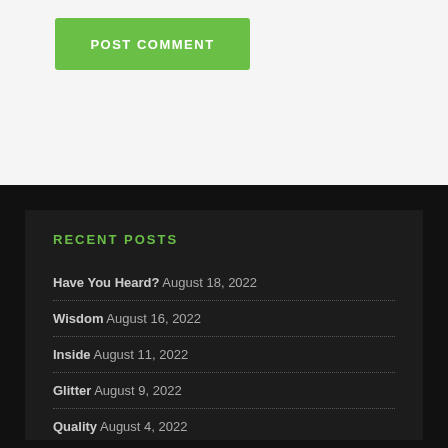POST COMMENT
RECENT POSTS
Have You Heard? August 18, 2022
Wisdom August 16, 2022
Inside August 11, 2022
Glitter August 9, 2022
Quality August 4, 2022